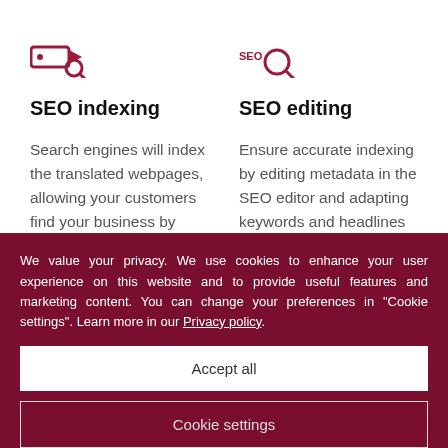[Figure (logo): SEO indexing icon: magnifying glass with a tag/label icon in dark red]
SEO indexing
Search engines will index the translated webpages, allowing your customers find your business by organic search in their
[Figure (logo): SEO editing icon: magnifying glass with SEO text in dark red]
SEO editing
Ensure accurate indexing by editing metadata in the SEO editor and adapting keywords and headlines to various international
We value your privacy. We use cookies to enhance your user experience on this website and to provide useful features and marketing content. You can change your preferences in "Cookie settings". Learn more in our Privacy policy.
Accept all
Cookie settings